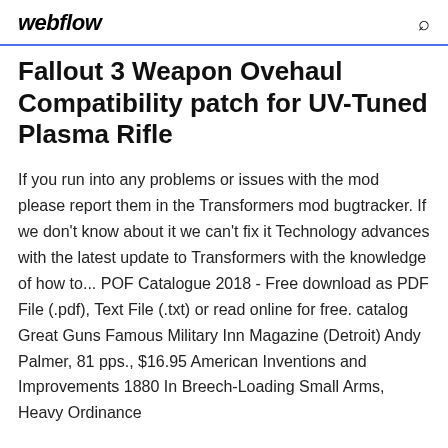webflow
Fallout 3 Weapon Ovehaul Compatibility patch for UV-Tuned Plasma Rifle
If you run into any problems or issues with the mod please report them in the Transformers mod bugtracker. If we don't know about it we can't fix it Technology advances with the latest update to Transformers with the knowledge of how to... POF Catalogue 2018 - Free download as PDF File (.pdf), Text File (.txt) or read online for free. catalog Great Guns Famous Military Inn Magazine (Detroit) Andy Palmer, 81 pps., $16.95 American Inventions and Improvements 1880 In Breech-Loading Small Arms, Heavy Ordinance